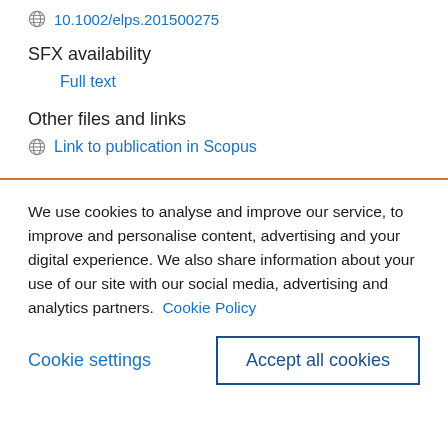10.1002/elps.201500275
SFX availability
Full text
Other files and links
Link to publication in Scopus
We use cookies to analyse and improve our service, to improve and personalise content, advertising and your digital experience. We also share information about your use of our site with our social media, advertising and analytics partners.  Cookie Policy
Cookie settings
Accept all cookies